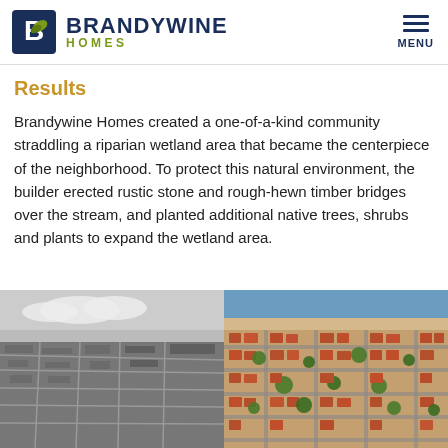BRANDYWINE HOMES
Results
Brandywine Homes created a one-of-a-kind community straddling a riparian wetland area that became the centerpiece of the neighborhood. To protect this natural environment, the builder erected rustic stone and rough-hewn timber bridges over the stream, and planted additional native trees, shrubs and plants to expand the wetland area.
[Figure (photo): Aerial black-and-white photograph of a coastal neighborhood before development]
[Figure (photo): Aerial color photograph of a residential neighborhood with red-roofed houses and trees]